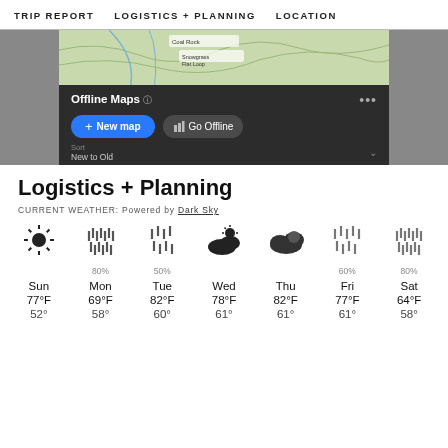TRIP REPORT   LOGISTICS + PLANNING   LOCATION
[Figure (screenshot): Mobile app screenshot showing Offline Maps UI with 'New map' and 'Go Offline' buttons, sort by New to Old, overlaid on a topographic map background]
Logistics + Planning
CURRENT WEATHER: Powered by Dark Sky
| Sun | Mon | Tue | Wed | Thu | Fri | Sat |
| --- | --- | --- | --- | --- | --- | --- |
| ☀ | rain 80% | rain 50% | cloudy | cloudy | rain 60% | rain 80% |
| 77°F | 69°F | 82°F | 78°F | 82°F | 77°F | 64°F |
| 52° | 58° | 60° | 61° | 61° | 61° | 58° |